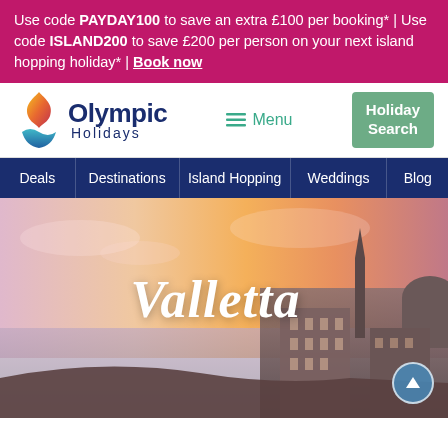Use code PAYDAY100 to save an extra £100 per booking* | Use code ISLAND200 to save £200 per person on your next island hopping holiday* | Book now
[Figure (logo): Olympic Holidays logo with flame/wave icon and dark blue text]
≡ Menu
Holiday Search
Deals | Destinations | Island Hopping | Weddings | Blog
[Figure (photo): Hero image of Valletta, Malta at sunset with warm pink/golden sky and city skyline featuring church spires and a dome. The word 'Valletta' is overlaid in white italic script font.]